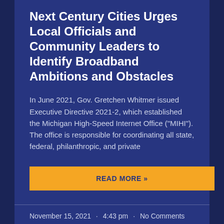Next Century Cities Urges Local Officials and Community Leaders to Identify Broadband Ambitions and Obstacles
In June 2021, Gov. Gretchen Whitmer issued Executive Directive 2021-2, which established the Michigan High-Speed Internet Office ("MIHI"). The office is responsible for coordinating all state, federal, philanthropic, and private
READ MORE »
November 15, 2021  •  4:43 pm  •  No Comments